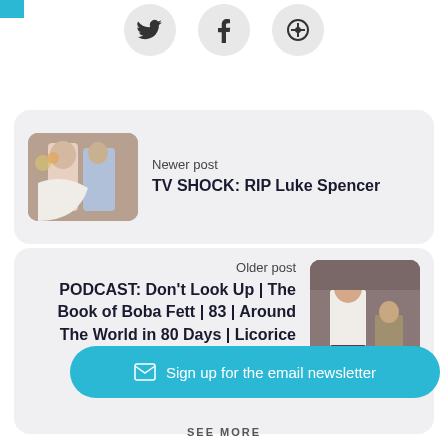[Figure (other): Social sharing icons: Twitter bird, Facebook f, and a Google+ or share icon, each in a light gray circle]
[Figure (photo): Thumbnail photo of a couple in wedding attire, the woman in a white dress and the man in a suit]
Newer post
TV SHOCK: RIP Luke Spencer
[Figure (photo): Thumbnail photo of a young woman in a white shirt and a man in the background, appearing to be from Licorice Pizza]
Older post
PODCAST: Don't Look Up | The Book of Boba Fett | 83 | Around The World in 80 Days | Licorice Pizza
Sign up for the email newsletter
SEE MORE